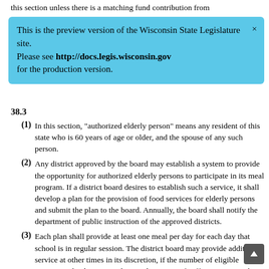this section unless there is a matching fund contribution from
[Figure (screenshot): Preview banner overlay: 'This is the preview version of the Wisconsin State Legislature site. Please see http://docs.legis.wisconsin.gov for the production version.']
38.3
(1) In this section, "authorized elderly person" means any resident of this state who is 60 years of age or older, and the spouse of any such person.
(2) Any district approved by the board may establish a system to provide the opportunity for authorized elderly persons to participate in its meal program. If a district board desires to establish such a service, it shall develop a plan for the provision of food services for elderly persons and submit the plan to the board. Annually, the board shall notify the department of public instruction of the approved districts.
(3) Each plan shall provide at least one meal per day for each day that school is in regular session. The district board may provide additional service at other times in its discretion, if the number of eligible persons in the district or adjacent districts is of sufficient size, in the opinion of the board, so that unwarranted production expense is not incurred.
(4) Any district board that operates a food services plan for elderly persons under this section shall make facilities available for service to elderly persons at every technical college in the